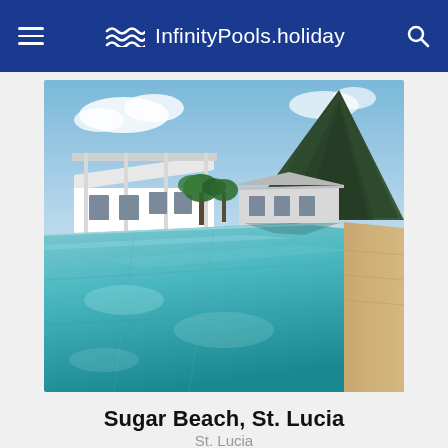InfinityPools.holiday
[Figure (photo): Luxury infinity pool at Sugar Beach resort in St. Lucia, with a dramatic volcanic Piton mountain in the background, white colonial-style buildings, and clear turquoise pool water in the foreground.]
Sugar Beach, St. Lucia
St. Lucia